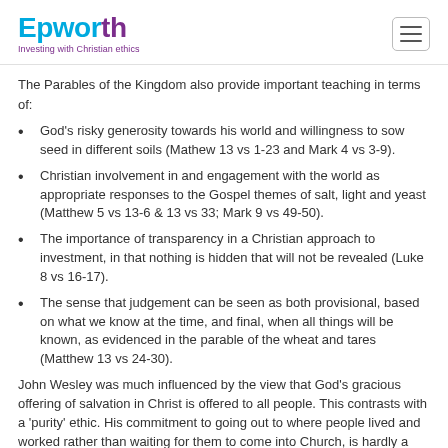Epworth — Investing with Christian ethics
The Parables of the Kingdom also provide important teaching in terms of:
God's risky generosity towards his world and willingness to sow seed in different soils (Mathew 13 vs 1-23 and Mark 4 vs 3-9).
Christian involvement in and engagement with the world as appropriate responses to the Gospel themes of salt, light and yeast (Matthew 5 vs 13-6 & 13 vs 33; Mark 9 vs 49-50).
The importance of transparency in a Christian approach to investment, in that nothing is hidden that will not be revealed (Luke 8 vs 16-17).
The sense that judgement can be seen as both provisional, based on what we know at the time, and final, when all things will be known, as evidenced in the parable of the wheat and tares (Matthew 13 vs 24-30).
John Wesley was much influenced by the view that God's gracious offering of salvation in Christ is offered to all people. This contrasts with a 'purity' ethic. His commitment to going out to where people lived and worked rather than waiting for them to come into Church, is hardly a